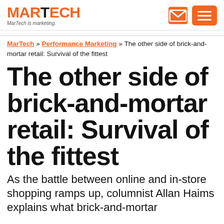MARTECH — MarTech is marketing.
MarTech » Performance Marketing » The other side of brick-and-mortar retail: Survival of the fittest
The other side of brick-and-mortar retail: Survival of the fittest
As the battle between online and in-store shopping ramps up, columnist Allan Haims explains what brick-and-mortar